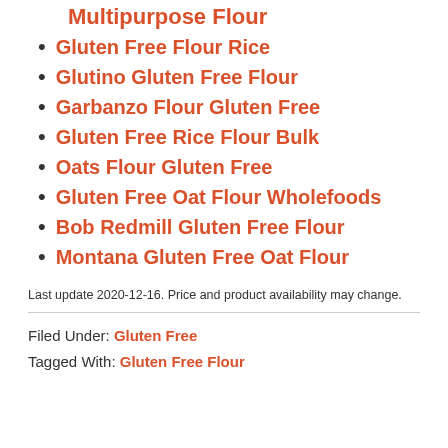Multipurpose Flour
Gluten Free Flour Rice
Glutino Gluten Free Flour
Garbanzo Flour Gluten Free
Gluten Free Rice Flour Bulk
Oats Flour Gluten Free
Gluten Free Oat Flour Wholefoods
Bob Redmill Gluten Free Flour
Montana Gluten Free Oat Flour
Last update 2020-12-16. Price and product availability may change.
Filed Under: Gluten Free
Tagged With: Gluten Free Flour